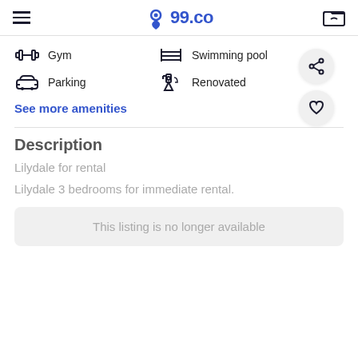99.co
Gym
Swimming pool
Parking
Renovated
See more amenities
Description
Lilydale for rental
Lilydale 3 bedrooms for immediate rental.
This listing is no longer available